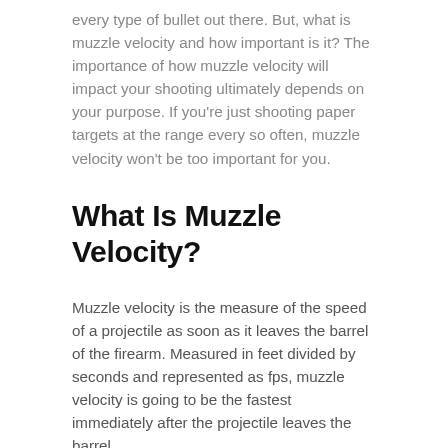every type of bullet out there. But, what is muzzle velocity and how important is it? The importance of how muzzle velocity will impact your shooting ultimately depends on your purpose. If you're just shooting paper targets at the range every so often, muzzle velocity won't be too important for you.
What Is Muzzle Velocity?
Muzzle velocity is the measure of the speed of a projectile as soon as it leaves the barrel of the firearm. Measured in feet divided by seconds and represented as fps, muzzle velocity is going to be the fastest immediately after the projectile leaves the barrel.
For those out there that will contest this statement – yes, the velocity is technically the fastest at the moment of explosion, but it can only be measured once the bullet leaves the barrel. All types of ammunition can have the